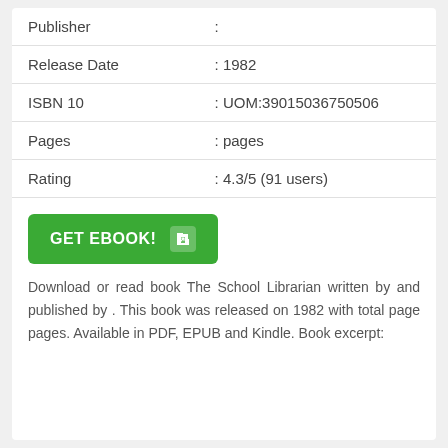| Field | Value |
| --- | --- |
| Publisher | : |
| Release Date | : 1982 |
| ISBN 10 | : UOM:39015036750506 |
| Pages | : pages |
| Rating | : 4.3/5 (91 users) |
[Figure (other): Green GET EBOOK! button with arrow icon]
Download or read book The School Librarian written by and published by . This book was released on 1982 with total page pages. Available in PDF, EPUB and Kindle. Book excerpt: